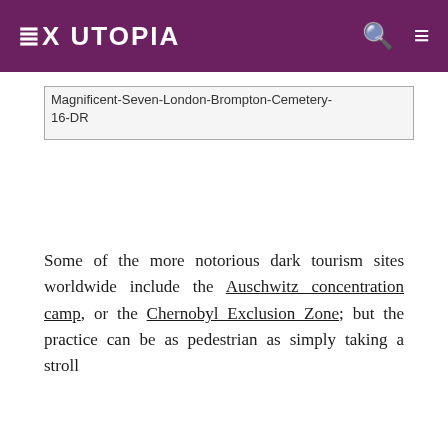EX UTOPIA
[Figure (photo): Broken image placeholder showing alt text: Magnificent-Seven-London-Brompton-Cemetery-16-DR]
Some of the more notorious dark tourism sites worldwide include the Auschwitz concentration camp, or the Chernobyl Exclusion Zone; but the practice can be as pedestrian as simply taking a stroll through...